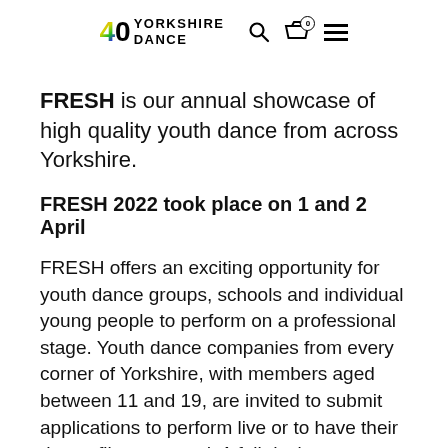40 YORKSHIRE DANCE
FRESH is our annual showcase of high quality youth dance from across Yorkshire.
FRESH 2022 took place on 1 and 2 April
FRESH offers an exciting opportunity for youth dance groups, schools and individual young people to perform on a professional stage. Youth dance companies from every corner of Yorkshire, with members aged between 11 and 19, are invited to submit applications to perform live or to have their dance-film screened. A full day's